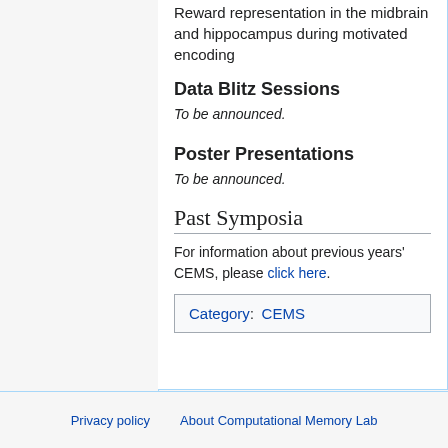Reward representation in the midbrain and hippocampus during motivated encoding
Data Blitz Sessions
To be announced.
Poster Presentations
To be announced.
Past Symposia
For information about previous years' CEMS, please click here.
| Category:  CEMS |
Privacy policy   About Computational Memory Lab